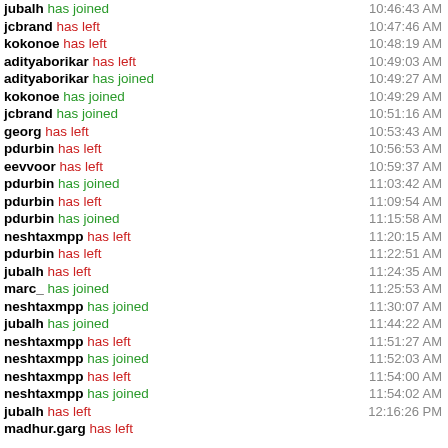jubalh has joined 10:46:43 AM
jcbrand has left 10:47:46 AM
kokonoe has left 10:48:19 AM
adityaborikar has left 10:49:03 AM
adityaborikar has joined 10:49:27 AM
kokonoe has joined 10:49:29 AM
jcbrand has joined 10:51:16 AM
georg has left 10:53:43 AM
pdurbin has left 10:56:53 AM
eevvoor has left 10:59:37 AM
pdurbin has joined 11:03:42 AM
pdurbin has left 11:09:54 AM
pdurbin has joined 11:15:58 AM
neshtaxmpp has left 11:20:15 AM
pdurbin has left 11:22:51 AM
jubalh has left 11:24:35 AM
marc_ has joined 11:25:53 AM
neshtaxmpp has joined 11:30:07 AM
jubalh has joined 11:44:22 AM
neshtaxmpp has left 11:51:27 AM
neshtaxmpp has joined 11:52:03 AM
neshtaxmpp has left 11:54:00 AM
neshtaxmpp has joined 11:54:02 AM
jubalh has left 12:16:26 PM
madhur.garg has left